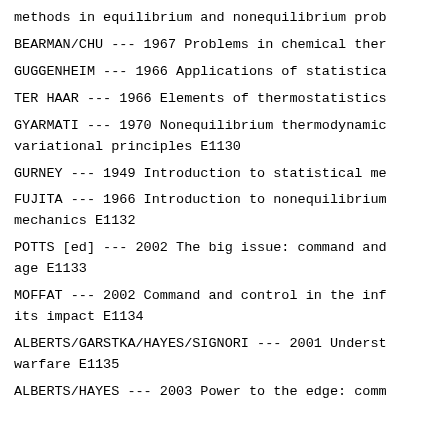methods in equilibrium and nonequilibrium prob
BEARMAN/CHU --- 1967 Problems in chemical ther
GUGGENHEIM --- 1966 Applications of statistica
TER HAAR --- 1966 Elements of thermostatistics
GYARMATI --- 1970 Nonequilibrium thermodynamic variational principles E1130
GURNEY --- 1949 Introduction to statistical me
FUJITA --- 1966 Introduction to nonequilibrium mechanics E1132
POTTS [ed] --- 2002 The big issue: command and age E1133
MOFFAT --- 2002 Command and control in the inf its impact E1134
ALBERTS/GARSTKA/HAYES/SIGNORI --- 2001 Underst warfare E1135
ALBERTS/HAYES --- 2003 Power to the edge: comm